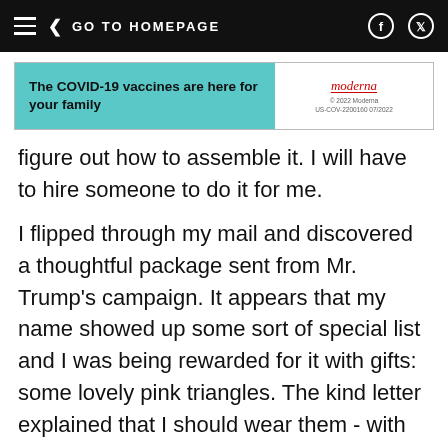GO TO HOMEPAGE
[Figure (other): Moderna advertisement banner: 'The COVID-19 vaccines are here for your family' with teal background on left and Moderna logo on right.]
figure out how to assemble it. I will have to hire someone to do it for me.
I flipped through my mail and discovered a thoughtful package sent from Mr. Trump's campaign. It appears that my name showed up some sort of special list and I was being rewarded for it with gifts: some lovely pink triangles. The kind letter explained that I should wear them - with pride! - on all of my clothing: underwear, shirts, coats, you name it. The pink triangles do not mean anything. They are just